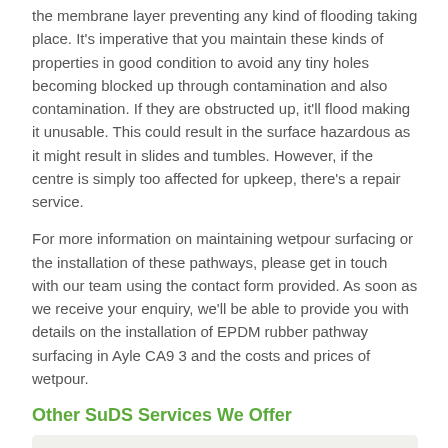the membrane layer preventing any kind of flooding taking place. It's imperative that you maintain these kinds of properties in good condition to avoid any tiny holes becoming blocked up through contamination and also contamination. If they are obstructed up, it'll flood making it unusable. This could result in the surface hazardous as it might result in slides and tumbles. However, if the centre is simply too affected for upkeep, there's a repair service.
For more information on maintaining wetpour surfacing or the installation of these pathways, please get in touch with our team using the contact form provided. As soon as we receive your enquiry, we'll be able to provide you with details on the installation of EPDM rubber pathway surfacing in Ayle CA9 3 and the costs and prices of wetpour.
Other SuDS Services We Offer
Porous Rubber Mulch Pathways in Ayle - https://www.sustainable-urban-drainage-systems.co.uk/pathway/rubber-mulch/northumberland/ayle/